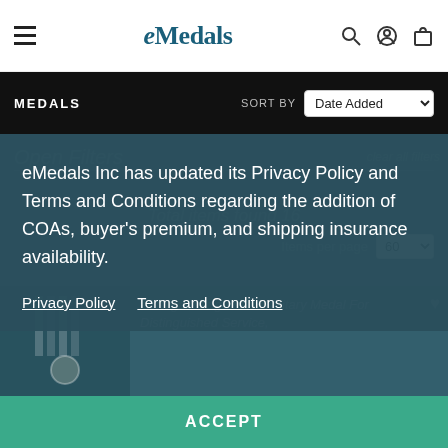eMedals — navigation header with hamburger menu, logo, search, account, and cart icons
MEDALS | SORT BY: Date Added
Open Filters ... clear all filters
Total items found 16
Items per page 60
eMedals Inc has updated its Privacy Policy and Terms and Conditions regarding the addition of COAs, buyer's premium, and shipping insurance availability.
Privacy Policy    Terms and Conditions
Portugal, Kingdom. A Military Medal For Distinguished Service,
$200 USD
ACCEPT